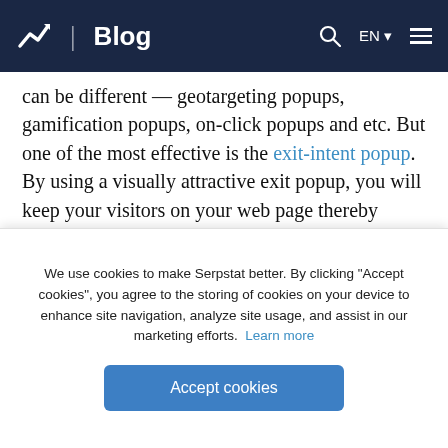Blog
can be different — geotargeting popups, gamification popups, on-click popups and etc. But one of the most effective is the exit-intent popup. By using a visually attractive exit popup, you will keep your visitors on your web page thereby increasing your traffic and conversions. It will appear once your visitors will browse to close your tab, and will convince them to stay on your page for longer.
It's important to strike the right balance with popups.
We use cookies to make Serpstat better. By clicking "Accept cookies", you agree to the storing of cookies on your device to enhance site navigation, analyze site usage, and assist in our marketing efforts. Learn more